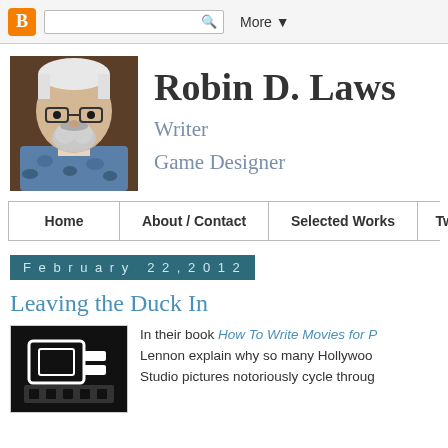Blogger navbar with search box and More button
[Figure (illustration): Stylized illustration of Robin D. Laws — a bearded man with glasses in a blue floral shirt, on a brown background]
Robin D. Laws
Writer
Game Designer
Home
About / Contact
Selected Works
Twitter
February 22, 2012
Leaving the Duck In
[Figure (illustration): Black and white icon/thumbnail image related to the blog post]
In their book How To Write Movies for P… Lennon explain why so many Hollywoo… Studio pictures notoriously cycle throug…